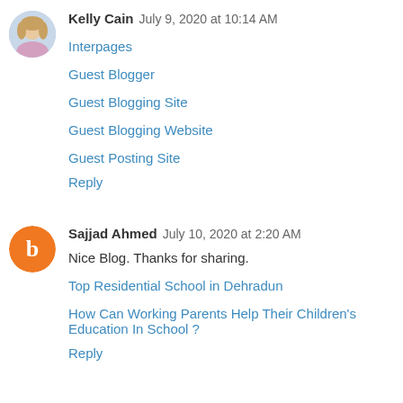Kelly Cain  July 9, 2020 at 10:14 AM
Interpages
Guest Blogger
Guest Blogging Site
Guest Blogging Website
Guest Posting Site
Reply
Sajjad Ahmed  July 10, 2020 at 2:20 AM
Nice Blog. Thanks for sharing.
Top Residential School in Dehradun
How Can Working Parents Help Their Children's Education In School ?
Reply